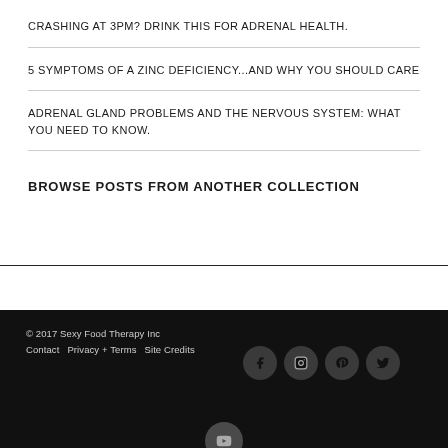CRASHING AT 3PM? DRINK THIS FOR ADRENAL HEALTH.
5 SYMPTOMS OF A ZINC DEFICIENCY...AND WHY YOU SHOULD CARE
ADRENAL GLAND PROBLEMS AND THE NERVOUS SYSTEM: WHAT YOU NEED TO KNOW.
BROWSE POSTS FROM ANOTHER COLLECTION
© 2017 Sexy Food Therapy Inc   Contact   Privacy + Terms   Site Credits